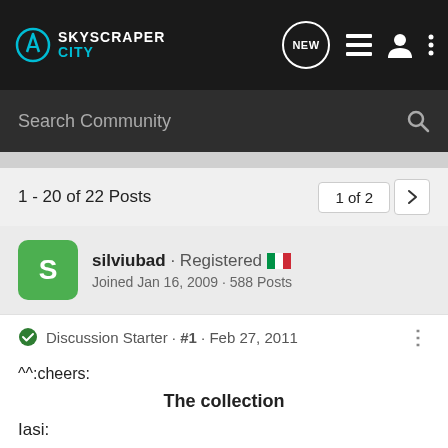SkyscraperCity
Search Community
1 - 20 of 22 Posts
1 of 2
silviubad · Registered · Joined Jan 16, 2009 · 588 Posts
Discussion Starter · #1 · Feb 27, 2011
^^:cheers:
The collection
Iasi:
Pascani: